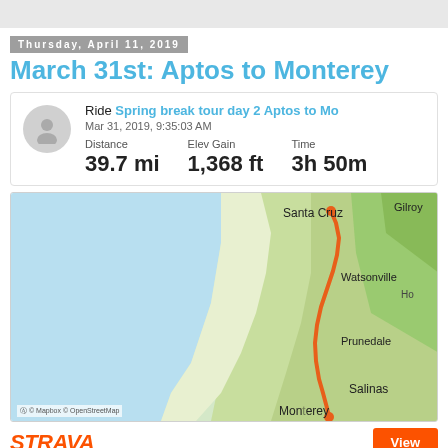Thursday, April 11, 2019
March 31st: Aptos to Monterey
Ride Spring break tour day 2 Aptos to Mo… Mar 31, 2019, 9:35:03 AM Distance 39.7 mi  Elev Gain 1,368 ft  Time 3h 50m
[Figure (map): Route map showing cycling route from Santa Cruz/Aptos area south along the coast through Watsonville, Prunedale, Salinas to Monterey. Route shown as orange line on map with town labels: Santa Cruz, Watsonville, Gilroy, Prunedale, Salinas, Monterey. Map background shows ocean (blue) on left and terrain (green/tan) on right. Attribution: Mapbox, OpenStreetMap.]
STRAVA
View